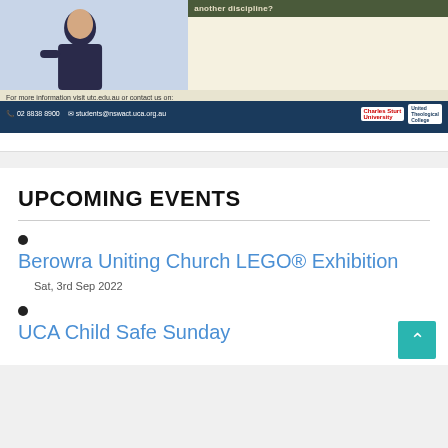[Figure (illustration): Advertisement banner for Charles Sturt University and United Theological College showing a student and contact information: 02 8838 8900, students@nswact.uca.org.au, utc.edu.au]
UPCOMING EVENTS
Berowra Uniting Church LEGO® Exhibition
Sat, 3rd Sep 2022
UCA Child Safe Sunday